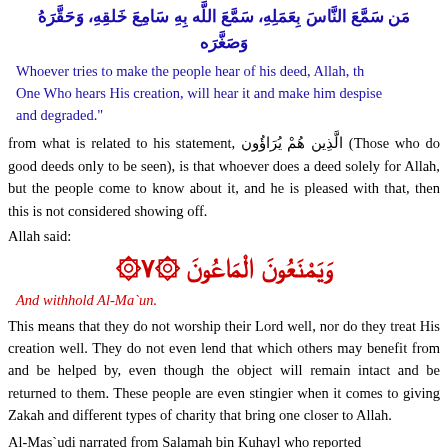من سمع الناس بعمله، سمع الله به سامع خلقه، وحقره وصغّره
Whoever tries to make the people hear of his deed, Allah, the One Who hears His creation, will hear it and make him despised and degraded."
from what is related to his statement, الَّذِين هُمْ يُرَاؤُون (Those who do good deeds only to be seen), is that whoever does a deed solely for Allah, but the people come to know about it, and he is pleased with that, then this is not considered showing off.
Allah said:
وَيَمْنَعُونَ الْمَاعُونَ ۞٧۞
And withhold Al-Ma`un.
This means that they do not worship their Lord well, nor do they treat His creation well. They do not even lend that which others may benefit from and be helped by, even though the object will remain intact and be returned to them. These people are even stingier when it comes to giving Zakah and different types of charity that bring one closer to Allah.
Al-Mas`udi narrated from Salamah bin Kuhayl who reported